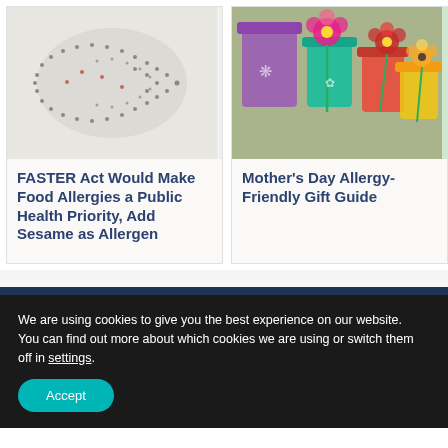[Figure (photo): Aerial view of a large crowd of people arranged in a curved arrow shape on a white surface]
FASTER Act Would Make Food Allergies a Public Health Priority, Add Sesame as Allergen
[Figure (photo): Colorful small potted plants and flower pots arranged on a wooden surface with pink and yellow flowers]
Mother's Day Allergy-Friendly Gift Guide
We are using cookies to give you the best experience on our website.
You can find out more about which cookies we are using or switch them off in settings.
Accept